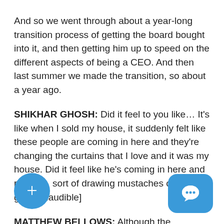And so we went through about a year-long transition process of getting the board bought into it, and then getting him up to speed on the different aspects of being a CEO. And then last summer we made the transition, so about a year ago.
SHIKHAR GHOSH: Did it feel to you like… It's like when I sold my house, it suddenly felt like these people are coming in here and they're changing the curtains that I love and it was my house. Did it feel like he's coming in here and painting, sort of drawing mustaches on your great [inaudible]
MATTHEW BELLOWS: Although the transition for me personally was difficult, like I'm a 100% behind Jon what he's doing and the team that he's built around, a lot of whom have stayed with Yesware through when I hired